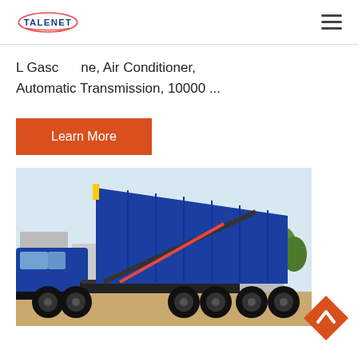TALENET
L Gasc...ne, Air Conditioner, Automatic Transmission, 10000 ...
Learn More
[Figure (photo): Blue dump truck with raised cargo bed, showing the hydraulic lift mechanism, parked outdoors with buildings and trees in the background.]
[Figure (other): Orange diamond-shaped back-to-top button with upward chevron arrow.]